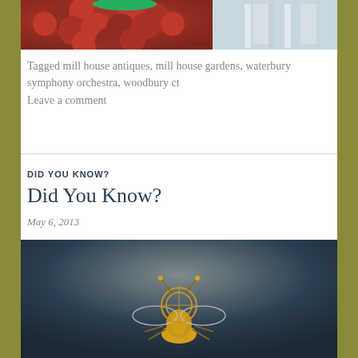[Figure (photo): Top portion of a food/wine blog image showing red grapes and a wine glass]
Tagged mill house antiques, mill house gardens, waterbury symphony orchestra, woodbury ct
Leave a comment
DID YOU KNOW?
Did You Know?
May 6, 2013
[Figure (photo): Dark background photo showing a golden/brass decorative insect or bee-like antique object]